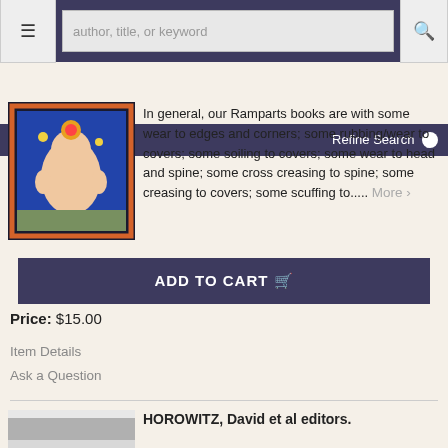author, title, or keyword search bar with menu and search icons
Refine Search
In general, our Ramparts books are with some wear to edges and corners; some rubbing/wear to covers; some soiling to covers; some wear to head and spine; some cross creasing to spine; some creasing to covers; some scuffing to..... More >
ADD TO CART
Price: $15.00
Item Details
Ask a Question
HOROWITZ, David et al editors.